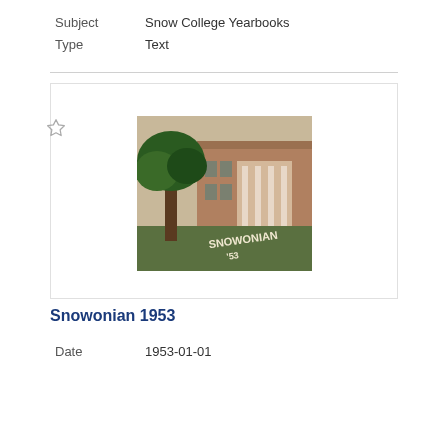Subject   Snow College Yearbooks
Type   Text
[Figure (photo): Photograph of a brick college building with large trees in the foreground and 'SNOWONIAN 53' text overlaid on the grass]
Snowonian 1953
Date   1953-01-01